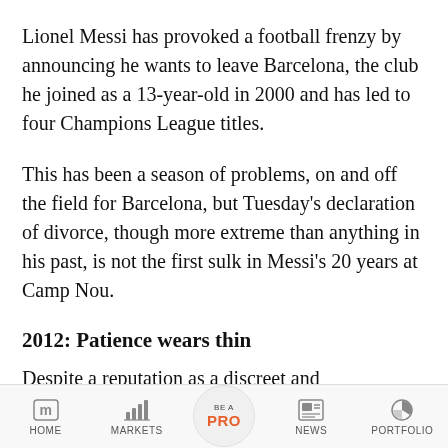Lionel Messi has provoked a football frenzy by announcing he wants to leave Barcelona, the club he joined as a 13-year-old in 2000 and has led to four Champions League titles.
This has been a season of problems, on and off the field for Barcelona, but Tuesday's declaration of divorce, though more extreme than anything in his past, is not the first sulk in Messi's 20 years at Camp Nou.
2012: Patience wears thin
Despite a reputation as a discreet and